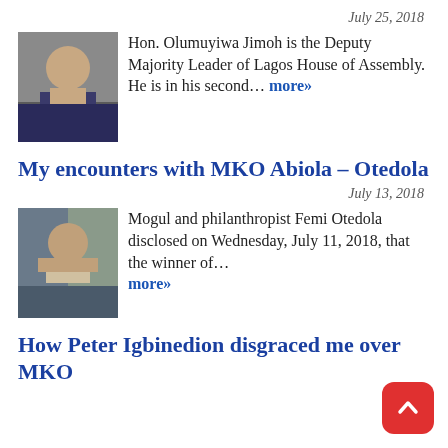July 25, 2018
Hon. Olumuyiwa Jimoh is the Deputy Majority Leader of Lagos House of Assembly. He is in his second... more»
My encounters with MKO Abiola – Otedola
July 13, 2018
Mogul and philanthropist Femi Otedola disclosed on Wednesday, July 11, 2018, that the winner of... more»
How Peter Igbinedion disgraced me over MKO